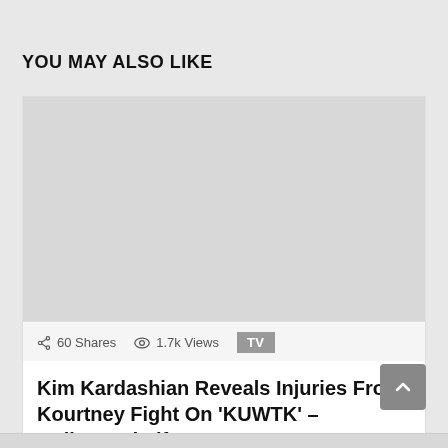YOU MAY ALSO LIKE
[Figure (photo): Placeholder image area (light gray rectangle) for a related article thumbnail]
60 Shares   1.7k Views   TV
Kim Kardashian Reveals Injuries From Kourtney Fight On 'KUWTK' – Hollywood Life